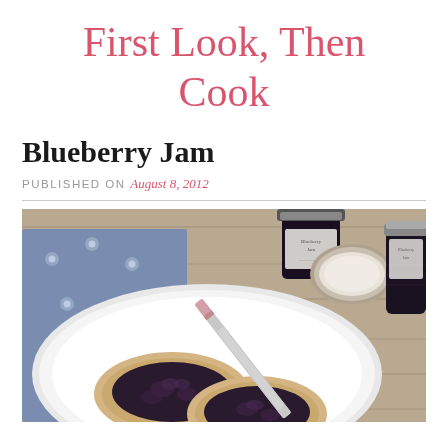First Look, Then Cook
Blueberry Jam
PUBLISHED ON August 8, 2012
[Figure (photo): Overhead photo of toast with blueberry jam on a white plate with a butter knife resting on it, a jar of blueberry jam, a small bowl or lid, and a blue floral cloth napkin on a wooden table surface]